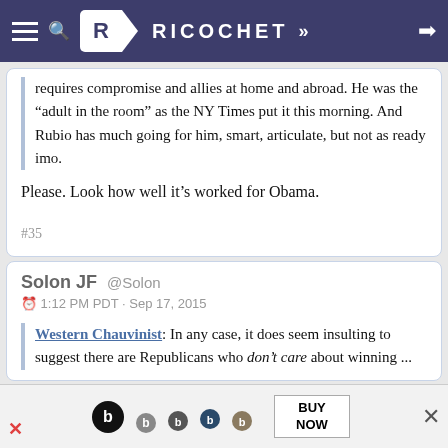Ricochet
requires compromise and allies at home and abroad. He was the “adult in the room” as the NY Times put it this morning. And Rubio has much going for him, smart, articulate, but not as ready imo.
Please. Look how well it’s worked for Obama.
#35
Solon JF @Solon
1:12 PM PDT · Sep 17, 2015
Western Chauvinist: In any case, it does seem insulting to suggest there are Republicans who don’t care about winning ...